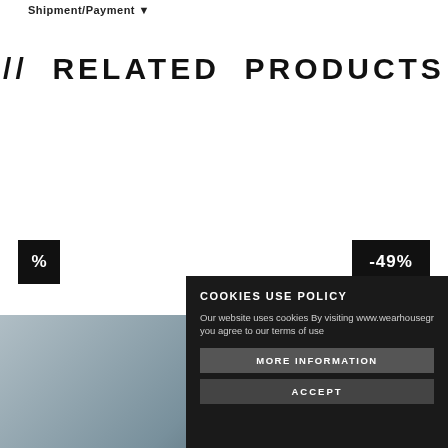Shipment/Payment ▼
// RELATED PRODUCTS
[Figure (screenshot): E-commerce related products section showing two product thumbnails with discount badges. Left badge shows '%' symbol on black background. Right badge shows '-49%' on black background. A cookie policy modal overlay appears in the bottom-right, with title 'COOKIES USE POLICY', body text 'Our website uses cookies. By visiting www.wearhousegr you agree to our terms of use', and two buttons: 'MORE INFORMATION' and 'ACCEPT'.]
COOKIES USE POLICY
Our website uses cookies By visiting www.wearhousegr you agree to our terms of use
MORE INFORMATION
ACCEPT